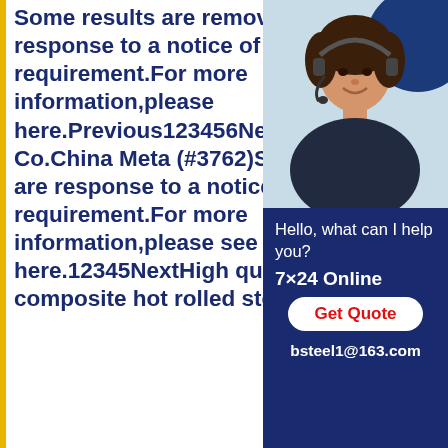Some results are removed in response to a notice of local law requirement.For more information,please here.Previous123456Next Industrial Co.China Meta (#3762)Some results are response to a notice of local requirement.For more information,please see here.12345NextHigh quality composite hot rolled steel
[Figure (photo): Customer service representative with headset, wearing dark clothing, smiling. Dark blue sidebar banner with chat widget showing 'Hello, what can I help you?', '7x24 Online', 'Get Quote' button, and email bsteel1@163.com]
China Wear Resistant Steel Plate manufacturer, quality surfacing composite hot rolled steel plateJan 13,2020Henan Union-steel ImportExport Co.,Ltd was established in 2013 year,and it mainly operates Wusteel,Ansteel,Xinsteel.,Xiangsteel Wuhansteel,Anshansteel Tiansteel Nansteel,XingCheng steel and many high quality productsSome results are removed in response to a notice of